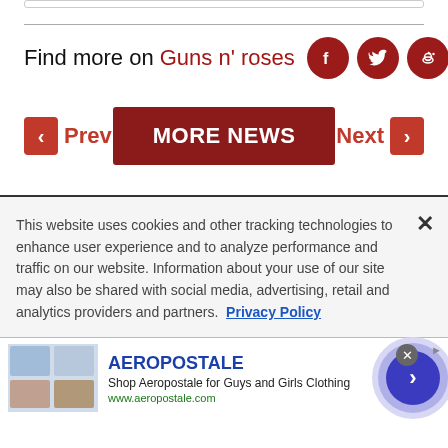Find more on Guns n' roses
Prev  MORE NEWS  Next
This website uses cookies and other tracking technologies to enhance user experience and to analyze performance and traffic on our website. Information about your use of our site may also be shared with social media, advertising, retail and analytics providers and partners. Privacy Policy
[Figure (infographic): Advertisement banner for Aeropostale with shop images, brand name, tagline, and CTA button]